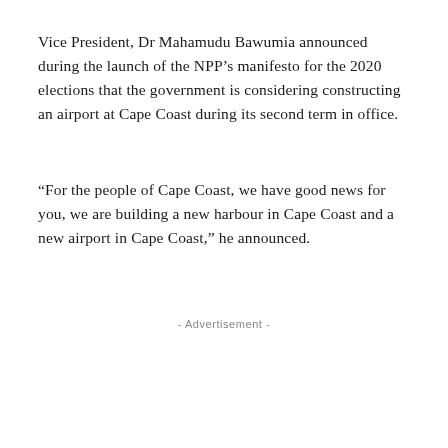Vice President, Dr Mahamudu Bawumia announced during the launch of the NPP’s manifesto for the 2020 elections that the government is considering constructing an airport at Cape Coast during its second term in office.
“For the people of Cape Coast, we have good news for you, we are building a new harbour in Cape Coast and a new airport in Cape Coast,” he announced.
- Advertisement -